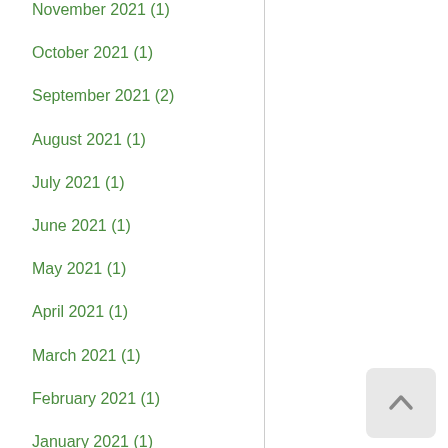November 2021 (1)
October 2021 (1)
September 2021 (2)
August 2021 (1)
July 2021 (1)
June 2021 (1)
May 2021 (1)
April 2021 (1)
March 2021 (1)
February 2021 (1)
January 2021 (1)